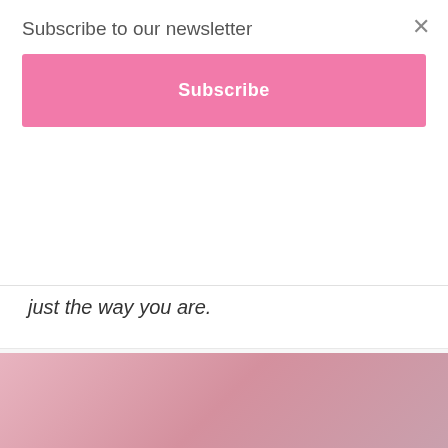Subscribe to our newsletter
Subscribe
just the way you are.
April 1, 2021  Reflections, yoga, yoga life  adulting, carpe diem, entrepreneur, fitlife, inspiration, live your best life, motivation, no regrets, regrets, RYT200, small business, Yoga teacher, yoga teacher training  Leave a comment
[Figure (photo): Pinkish-mauve gradient background block at the bottom of the page]